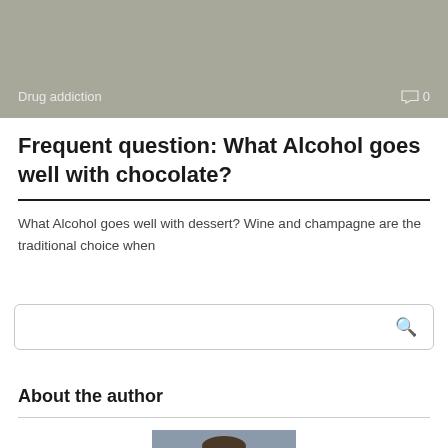[Figure (photo): Gray banner image with category label 'Drug addiction' and comment icon with '0' on the right]
Frequent question: What Alcohol goes well with chocolate?
What Alcohol goes well with dessert? Wine and champagne are the traditional choice when
[Figure (screenshot): Search input box with magnifying glass icon on the right]
About the author
[Figure (photo): Portrait photo of a man with glasses and short dark hair]